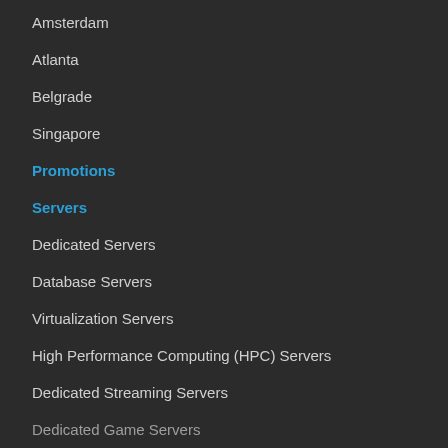Amsterdam
Atlanta
Belgrade
Singapore
Promotions
Servers
Dedicated Servers
Database Servers
Virtualization Servers
High Performance Computing (HPC) Servers
Dedicated Streaming Servers
Dedicated Game Servers